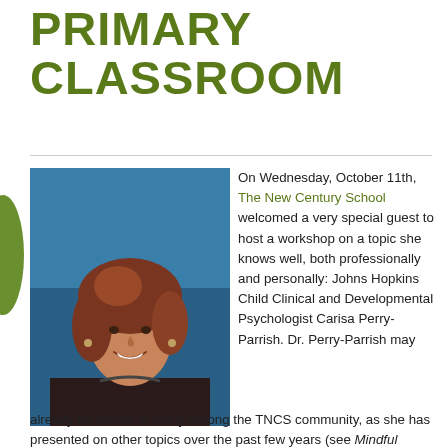PRIMARY CLASSROOM
[Figure (photo): Portrait photo of a smiling woman with curly reddish-brown hair, wearing a dark top, against a blue background. This is Dr. Carisa Perry-Parrish.]
On Wednesday, October 11th, The New Century School welcomed a very special guest to host a workshop on a topic she knows well, both professionally and personally: Johns Hopkins Child Clinical and Developmental Psychologist Carisa Perry-Parrish. Dr. Perry-Parrish may already be known to many among the TNCS community, as she has presented on other topics over the past few years (see Mindful Parenting: A TNCS
[Figure (illustration): Green leaf or diamond-shaped decorative element on the left margin]